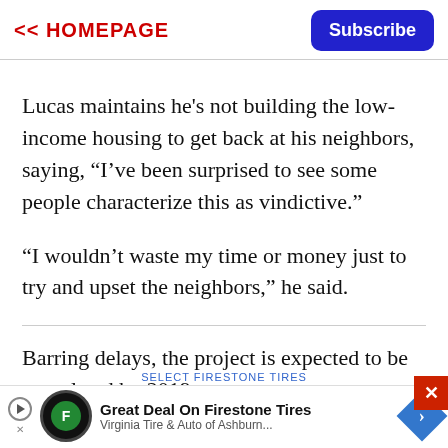<< HOMEPAGE | Subscribe
Lucas maintains he's not building the low-income housing to get back at his neighbors, saying, “I’ve been surprised to see some people characterize this as vindictive.”
“I wouldn’t waste my time or money just to try and upset the neighbors,” he said.
Barring delays, the project is expected to be completed by 2019.
[Figure (screenshot): Advertisement banner for Firestone Tires: Great Deal On Firestone Tires, Virginia Tire & Auto of Ashburn]